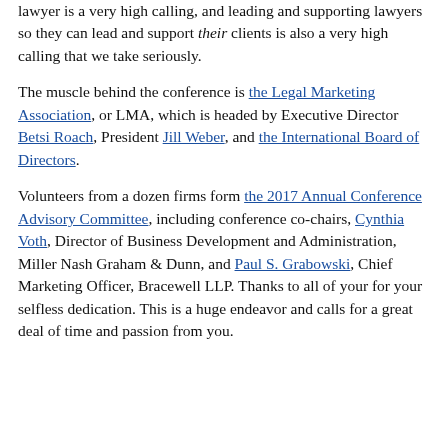lawyer is a very high calling, and leading and supporting lawyers so they can lead and support their clients is also a very high calling that we take seriously.
The muscle behind the conference is the Legal Marketing Association, or LMA, which is headed by Executive Director Betsi Roach, President Jill Weber, and the International Board of Directors.
Volunteers from a dozen firms form the 2017 Annual Conference Advisory Committee, including conference co-chairs, Cynthia Voth, Director of Business Development and Administration, Miller Nash Graham & Dunn, and Paul S. Grabowski, Chief Marketing Officer, Bracewell LLP. Thanks to all of your for your selfless dedication. This is a huge endeavor and calls for a great deal of time and passion from you.